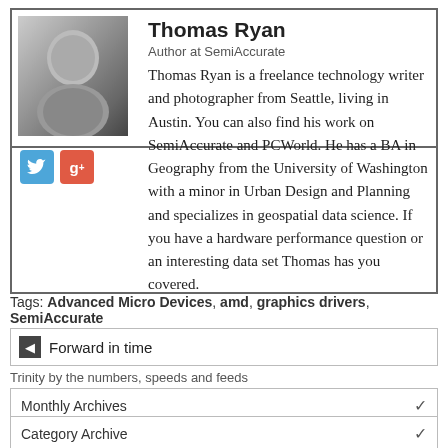[Figure (photo): Black and white portrait photo of Thomas Ryan]
Thomas Ryan
Author at SemiAccurate
Thomas Ryan is a freelance technology writer and photographer from Seattle, living in Austin. You can also find his work on SemiAccurate and PCWorld. He has a BA in Geography from the University of Washington with a minor in Urban Design and Planning and specializes in geospatial data science. If you have a hardware performance question or an interesting data set Thomas has you covered.
Tags: Advanced Micro Devices, amd, graphics drivers, SemiAccurate
Forward in time
Trinity by the numbers, speeds and feeds
Monthly Archives
Category Archive